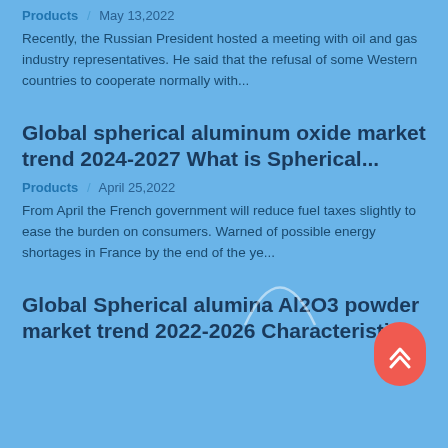Products  /  May 13,2022
Recently, the Russian President hosted a meeting with oil and gas industry representatives. He said that the refusal of some Western countries to cooperate normally with...
Global spherical aluminum oxide market trend 2024-2027 What is Spherical...
Products  /  April 25,2022
From April the French government will reduce fuel taxes slightly to ease the burden on consumers. Warned of possible energy shortages in France by the end of the ye...
Global Spherical alumina Al2O3 powder market trend 2022-2026 Characteristic...